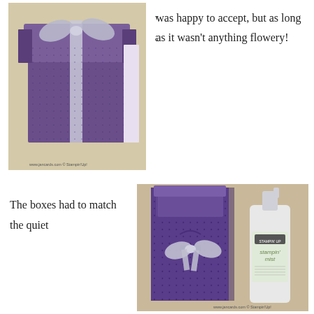[Figure (photo): Purple decorative gift box with silver ribbon bow on a light background. Watermark: www.jancards.com © Stampin'Up!]
was happy to accept, but as long as it wasn't anything flowery!
The boxes had to match the quiet
[Figure (photo): Tall purple dotted box with silver ribbon bow next to a green Stampin' Mist spray bottle on a tan surface. Watermark: www.jancards.com © Stampin'Up!]